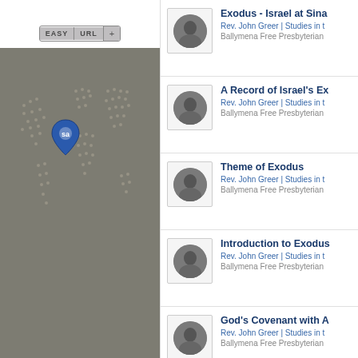[Figure (screenshot): Left panel showing a world map with dot pattern on gray/brown background, with a blue location pin marker and an 'EASY URL +' button bar at top]
Exodus - Israel at Sina - Rev. John Greer | Studies in t - Ballymena Free Presbyterian
A Record of Israel's Ex - Rev. John Greer | Studies in t - Ballymena Free Presbyterian
Theme of Exodus - Rev. John Greer | Studies in t - Ballymena Free Presbyterian
Introduction to Exodus - Rev. John Greer | Studies in t - Ballymena Free Presbyterian
God's Covenant with A - Rev. John Greer | Studies in t - Ballymena Free Presbyterian